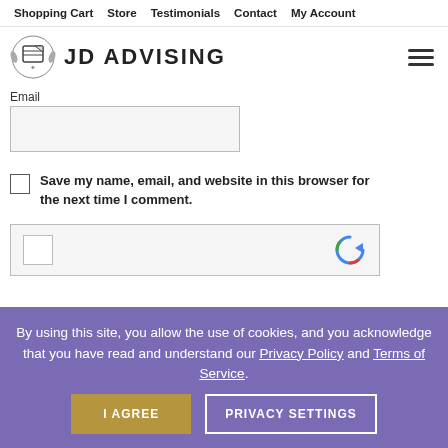Shopping Cart  Store  Testimonials  Contact  My Account
[Figure (logo): JD Advising logo with book/diploma icon and text 'JD ADVISING']
Email
Save my name, email, and website in this browser for the next time I comment.
[Figure (other): reCAPTCHA widget box with checkbox and reCAPTCHA icon]
By using this site, you allow the use of cookies, and you acknowledge that you have read and understand our Privacy Policy and Terms of Service.
I AGREE
PRIVACY SETTINGS